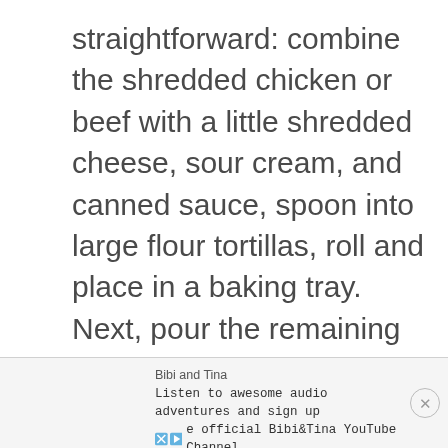straightforward: combine the shredded chicken or beef with a little shredded cheese, sour cream, and canned sauce, spoon into large flour tortillas, roll and place in a baking tray. Next, pour the remaining sauce from the can over the top, sprinkle (aka completely cover with) more shredded cheese, and bake.
[Figure (other): Advertisement banner for Bibi and Tina: 'Listen to awesome audio adventures and sign up [for the] official Bibi&Tina YouTube Channel.' with X and play icons, and a close button.]